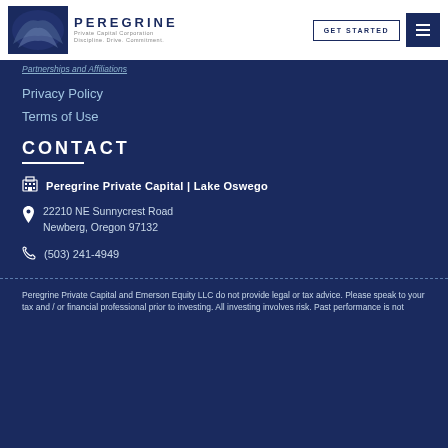[Figure (logo): Peregrine Private Capital Corporation logo with eagle image and text 'PEREGRINE Private Capital Corporation Discipline. Drive. Commitment.']
GET STARTED | Menu
Partnerships and Affiliations
Privacy Policy
Terms of Use
CONTACT
Peregrine Private Capital | Lake Oswego
22210 NE Sunnycrest Road
Newberg, Oregon 97132
(503) 241-4949
Peregrine Private Capital and Emerson Equity LLC do not provide legal or tax advice. Please speak to your tax and / or financial professional prior to investing. All investing involves risk. Past performance is not...